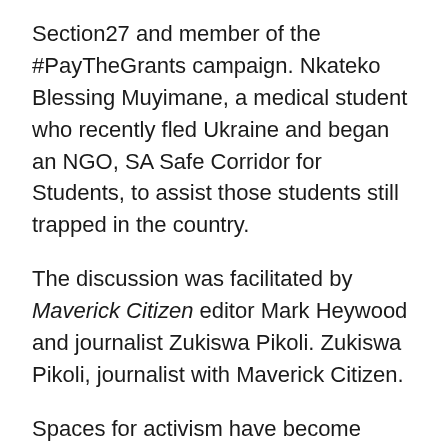Section27 and member of the #PayTheGrants campaign. Nkateko Blessing Muyimane, a medical student who recently fled Ukraine and began an NGO, SA Safe Corridor for Students, to assist those students still trapped in the country.
The discussion was facilitated by Maverick Citizen editor Mark Heywood and journalist Zukiswa Pikoli. Zukiswa Pikoli, journalist with Maverick Citizen.
Spaces for activism have become smaller in recent years, according to Kalla. This not only calls for more voices and action in these spaces but also cooperation and support among the different groups within civil society. There are, she emphasised, links between the various causes for which people advocate — from basic income and food sovereignty to free media and mental health.